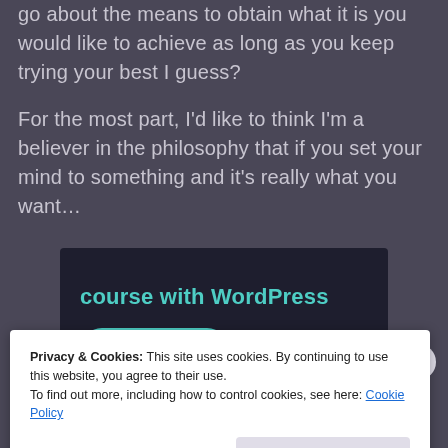go about the means to obtain what it is you would like to achieve as long as you keep trying your best I guess?

For the most part, I'd like to think I'm a believer in the philosophy that if you set your mind to something and it's really what you want...
[Figure (other): Advertisement banner with dark background showing text 'course with WordPress' and a teal 'Learn More' button]
Privacy & Cookies: This site uses cookies. By continuing to use this website, you agree to their use.
To find out more, including how to control cookies, see here: Cookie Policy